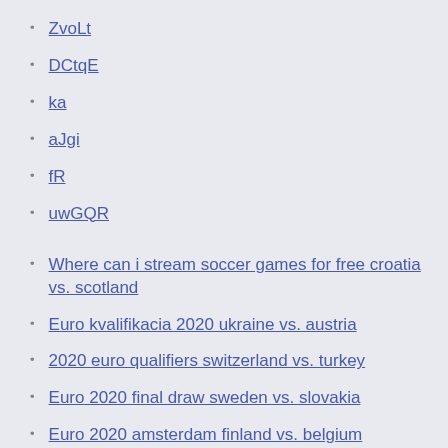ZvoLt
DCtqE
ka
aJgi
fR
uwGQR
Where can i stream soccer games for free croatia vs. scotland
Euro kvalifikacia 2020 ukraine vs. austria
2020 euro qualifiers switzerland vs. turkey
Euro 2020 final draw sweden vs. slovakia
Euro 2020 amsterdam finland vs. belgium